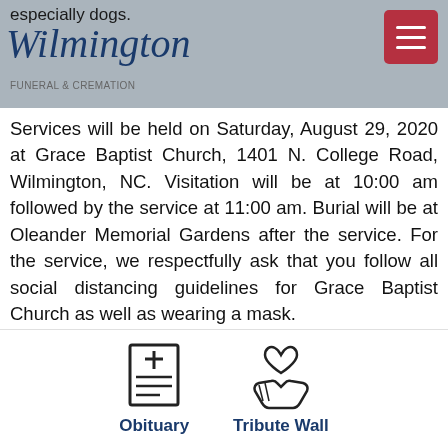especially dogs. Wilmington Funeral & Cremation
Services will be held on Saturday, August 29, 2020 at Grace Baptist Church, 1401 N. College Road, Wilmington, NC. Visitation will be at 10:00 am followed by the service at 11:00 am. Burial will be at Oleander Memorial Gardens after the service. For the service, we respectfully ask that you follow all social distancing guidelines for Grace Baptist Church as well as wearing a mask.
Proverbs 3:5-6
Trust in the Lord with all your heart,
and do not lean on your own understanding.
Obituary   Tribute Wall